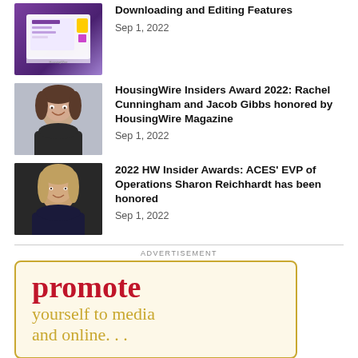[Figure (photo): Screenshot of a purple-themed software interface with download/editing features]
Downloading and Editing Features
Sep 1, 2022
[Figure (photo): Portrait photo of a woman smiling, Rachel Cunningham or Jacob Gibbs related]
HousingWire Insiders Award 2022: Rachel Cunningham and Jacob Gibbs honored by HousingWire Magazine
Sep 1, 2022
[Figure (photo): Portrait photo of a woman with short hair on dark background, Sharon Reichhardt]
2022 HW Insider Awards: ACES’ EVP of Operations Sharon Reichhardt has been honored
Sep 1, 2022
ADVERTISEMENT
[Figure (illustration): Advertisement box with text 'promote yourself to media and online...' in red and gold on cream background with gold border]